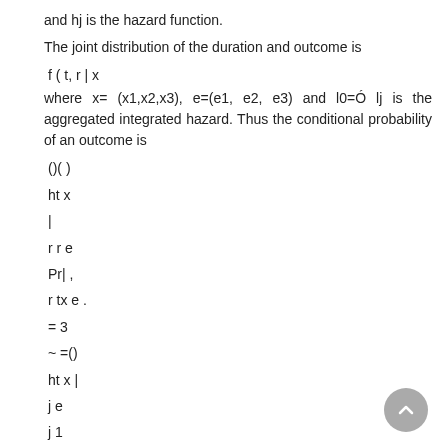and hj is the hazard function.
The joint distribution of the duration and outcome is
where x= (x1,x2,x3), e=(e1, e2, e3) and l0=Ó lj is the aggregated integrated hazard. Thus the conditional probability of an outcome is
5. Empirical Model